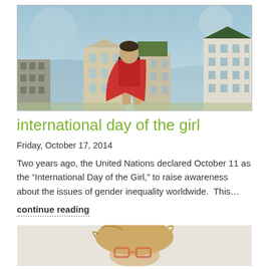[Figure (illustration): Illustrated banner image showing a superhero girl with a red cape viewed from behind, standing in front of a cityscape with buildings, against a light blue sky background]
international day of the girl
Friday, October 17, 2014
Two years ago, the United Nations declared October 11 as the “International Day of the Girl,” to raise awareness about the issues of gender inequality worldwide.  This…
continue reading
[Figure (photo): Partial photo at bottom showing a child with blonde hair and red glasses]